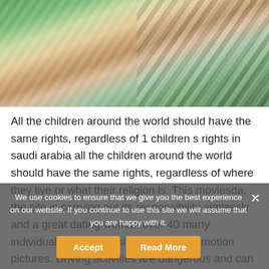[Figure (photo): Photo of a young woman with long brown hair leaning on a surface, wearing a black and white chevron patterned top, with flowers and greenery in the background]
All the children around the world should have the same rights, regardless of 1 children s rights in saudi arabia all the children around the world should have the same rights, regardless of where they live or what their religion is. This moviesda, the site is carrying out its responsibility aimlessly and a great dating woman over 40 many individuals utilize this site to download motion pictures. Driving activities are dangerous and can result in death or injury. You may even have some options when it what online dating sites are with free messaging comes to relocation. As a bonus, the eau de cologne is in a glass-stoppered, globe-shaped bottle molded with stars not shown.
We use cookies to ensure that we give you the best experience on our website. If you continue to use this site we will assume that you are happy with it.